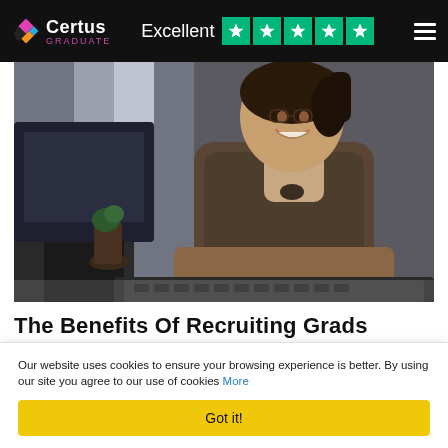Certus Graduate — Excellent (5 stars Trustpilot)
[Figure (photo): Woman smiling while typing on a keyboard at a desk, wearing a dark patterned blouse, office background with window light]
The Benefits Of Recruiting Grads
Our website uses cookies to ensure your browsing experience is better. By using our site you agree to our use of cookies More
Got it!